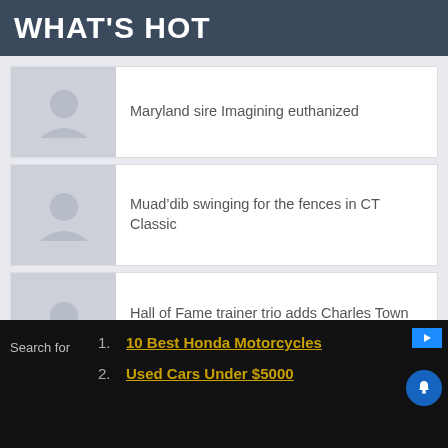WHAT'S HOT
Maryland sire Imagining euthanized
Muad’dib swinging for the fences in CT Classic
Hall of Fame trainer trio adds Charles Town Classic intrigue
Search for
1. 10 Best Honda Motorcycles
2. Used Cars Under $5000